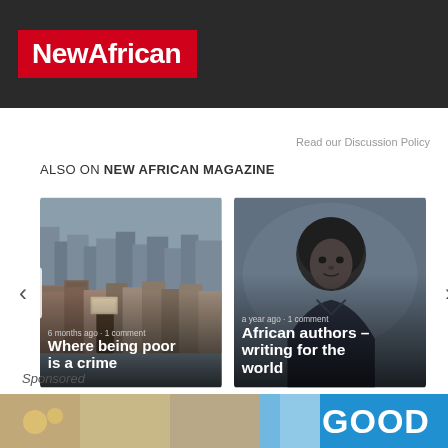NewAfrican
Read our Discussion Policy
ALSO ON NEW AFRICAN MAGAZINE
[Figure (photo): Card 1: City slum rooftops with person holding box, headline: Where being poor is a crime, 6 months ago · 1 comment]
[Figure (photo): Card 2: Black and white portrait of African man, headline: African authors – writing for the world, a year ago · 1 comment]
Sponsored
[Figure (photo): Sponsored banner image with GOOD text on right side]